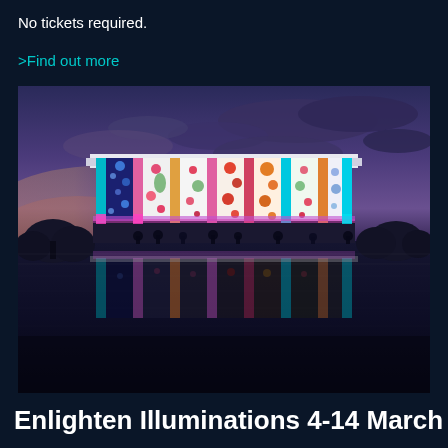No tickets required.
>Find out more
[Figure (photo): A large modernist building illuminated at night with colourful floral projections on its facade panels — blues, pinks, reds, oranges — reflected in a still body of water in front. The sky is twilight purple-blue with clouds. Crowds of people stand in front of the building. Trees visible at left and right.]
Enlighten Illuminations 4-14 March